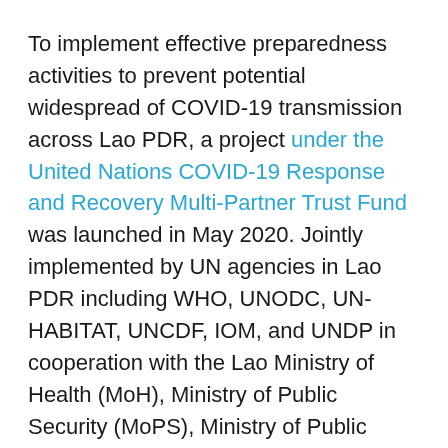To implement effective preparedness activities to prevent potential widespread of COVID-19 transmission across Lao PDR, a project under the United Nations COVID-19 Response and Recovery Multi-Partner Trust Fund was launched in May 2020. Jointly implemented by UN agencies in Lao PDR including WHO, UNODC, UN-HABITAT, UNCDF, IOM, and UNDP in cooperation with the Lao Ministry of Health (MoH), Ministry of Public Security (MoPS), Ministry of Public Works and Transport (MoPWT), and Ministry of Home Affairs (MoHA), the project successfully concluded in March 2021 following efforts to support Points of Entry (PoEs) to screen, monitor and isolate potential cases, treat patients at adequate